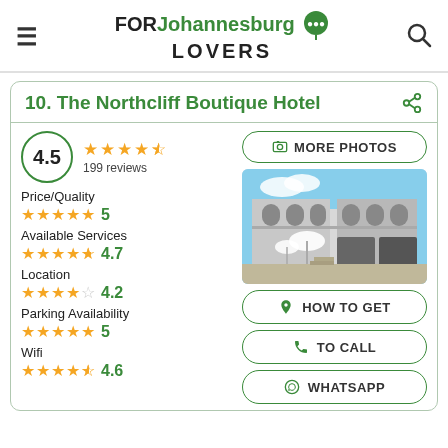FOR Johannesburg LOVERS
10. The Northcliff Boutique Hotel
4.5 — 199 reviews
Price/Quality: 5 stars — 5
Available Services: 4.7 stars — 4.7
Location: 4.2 stars — 4.2
Parking Availability: 5 stars — 5
Wifi: 4.6 stars — 4.6
[Figure (photo): Exterior photo of The Northcliff Boutique Hotel, a white multi-storey building with arched balconies and a driveway]
MORE PHOTOS
HOW TO GET
TO CALL
WHATSAPP